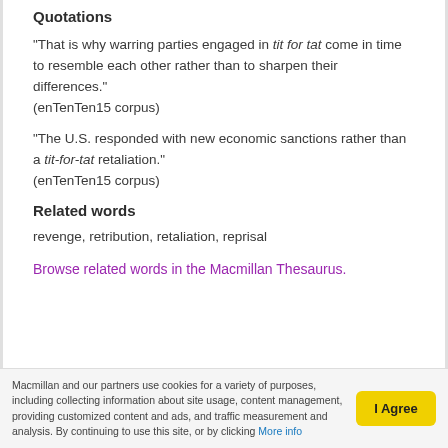Quotations
“That is why warring parties engaged in tit for tat come in time to resemble each other rather than to sharpen their differences.”
(enTenTen15 corpus)
“The U.S. responded with new economic sanctions rather than a tit-for-tat retaliation.”
(enTenTen15 corpus)
Related words
revenge, retribution, retaliation, reprisal
Browse related words in the Macmillan Thesaurus.
Macmillan and our partners use cookies for a variety of purposes, including collecting information about site usage, content management, providing customized content and ads, and traffic measurement and analysis. By continuing to use this site, or by clicking More info